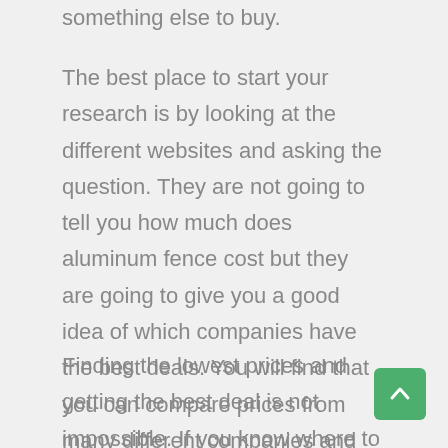something else to buy.
The best place to start your research is by looking at the different websites and asking the question. They are not going to tell you how much does aluminum fence cost but they are going to give you a good idea of which companies have the best deals. You will find that you can compare prices from many different companies and that you should also compare the amount of warranty offered with each company.
Finding the lowest prices and getting the best deal is not impossible. If you know where to look and what to look for you will find everything you need to get the doors